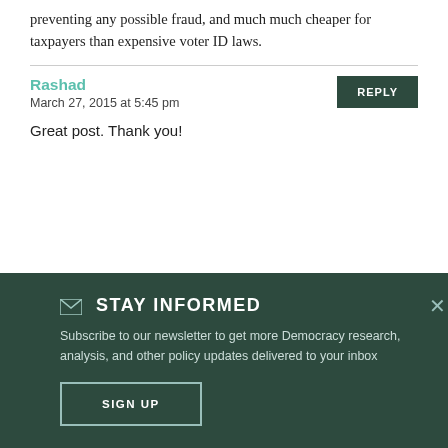preventing any possible fraud, and much much cheaper for taxpayers than expensive voter ID laws.
Rashad
March 27, 2015 at 5:45 pm
Great post. Thank you!
STAY INFORMED
Subscribe to our newsletter to get more Democracy research, analysis, and other policy updates delivered to your inbox
SIGN UP